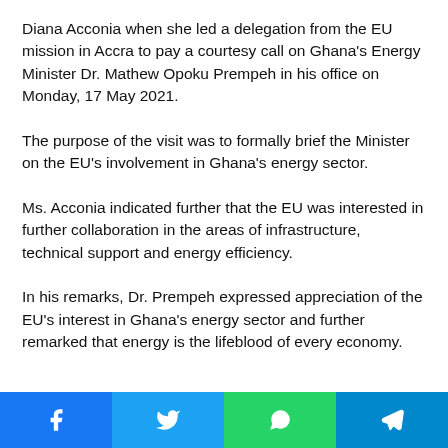Diana Acconia when she led a delegation from the EU mission in Accra to pay a courtesy call on Ghana's Energy Minister Dr. Mathew Opoku Prempeh in his office on Monday, 17 May 2021.
The purpose of the visit was to formally brief the Minister on the EU's involvement in Ghana's energy sector.
Ms. Acconia indicated further that the EU was interested in further collaboration in the areas of infrastructure, technical support and energy efficiency.
In his remarks, Dr. Prempeh expressed appreciation of the EU's interest in Ghana's energy sector and further remarked that energy is the lifeblood of every economy.
[Figure (infographic): Social media share buttons: Facebook (blue), Twitter (light blue), WhatsApp (green), Telegram (teal/blue)]